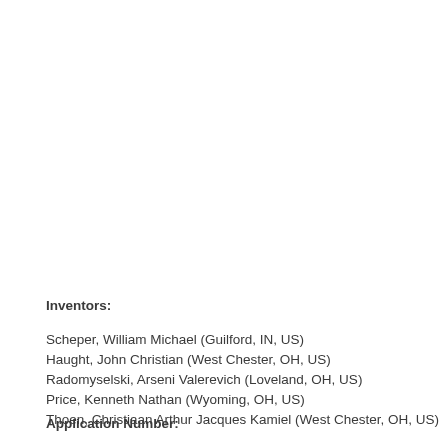Inventors:
Scheper, William Michael (Guilford, IN, US)
Haught, John Christian (West Chester, OH, US)
Radomyselski, Arseni Valerevich (Loveland, OH, US)
Price, Kenneth Nathan (Wyoming, OH, US)
Thoen, Christiaan Arthur Jacques Kamiel (West Chester, OH, US)
Application Number: